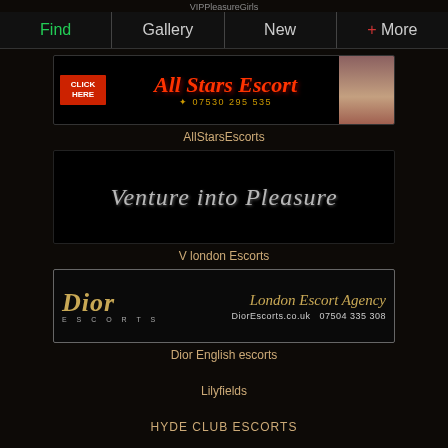VIPPleasureGirls
Find | Gallery | New | + More
[Figure (screenshot): All Stars Escort advertisement banner with red italic cursive script title and phone number, click here button on left, woman photo on right]
AllStarsEscorts
[Figure (screenshot): Black banner with cursive script text reading Venture into Pleasure]
V london Escorts
[Figure (screenshot): Dior Escorts London Escort Agency banner with gold Dior logo on left and cursive gold text London Escort Agency with DiorEscorts.co.uk and phone number 07504 335 308]
Dior English escorts
Lilyfields
HYDE CLUB ESCORTS